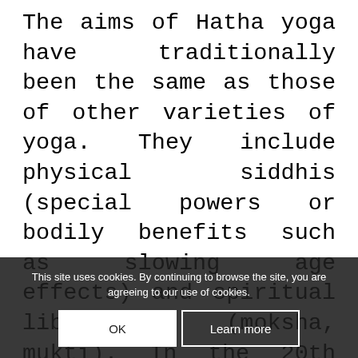The aims of Hatha yoga have traditionally been the same as those of other varieties of yoga. They include physical siddhis (special powers or bodily benefits such as slowing age effects) and spiritual liberation (moksha, mukti). In the 20th century, techniques of Hatha yoga particularly the asanas (physical postures) became popular throughout the world as a form of physical exercise for relaxation, body flexibility, strength and personal concentration. It is now colloquially termed as simply yoga. It has also developed into new movements and styles, such as the Iyengar... these are not same as
This site uses cookies. By continuing to browse the site, you are agreeing to our use of cookies.